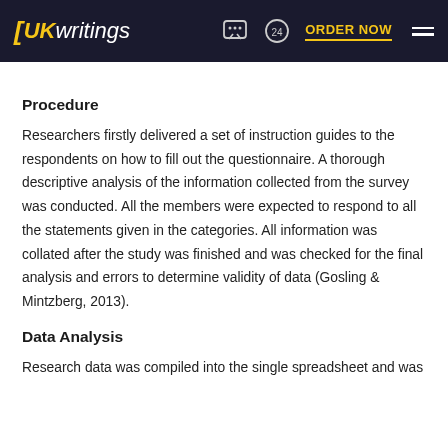UKwritings — ORDER NOW
Procedure
Researchers firstly delivered a set of instruction guides to the respondents on how to fill out the questionnaire. A thorough descriptive analysis of the information collected from the survey was conducted. All the members were expected to respond to all the statements given in the categories. All information was collated after the study was finished and was checked for the final analysis and errors to determine validity of data (Gosling & Mintzberg, 2013).
Data Analysis
Research data was compiled into the single spreadsheet and was